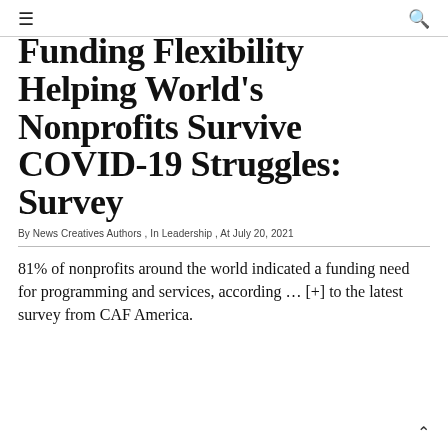≡  🔍
Funding Flexibility Helping World's Nonprofits Survive COVID-19 Struggles: Survey
By News Creatives Authors , In Leadership , At July 20, 2021
81% of nonprofits around the world indicated a funding need for programming and services, according … [+] to the latest survey from CAF America.